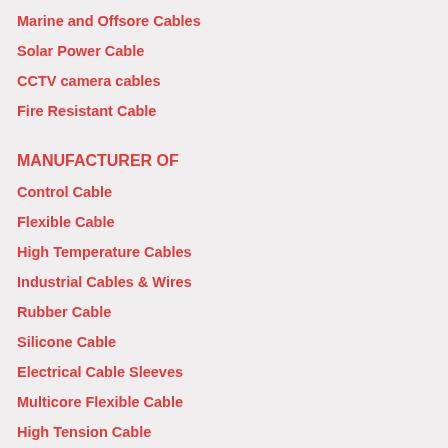Marine and Offsore Cables
Solar Power Cable
CCTV camera cables
Fire Resistant Cable
MANUFACTURER OF
Control Cable
Flexible Cable
High Temperature Cables
Industrial Cables & Wires
Rubber Cable
Silicone Cable
Electrical Cable Sleeves
Multicore Flexible Cable
High Tension Cable